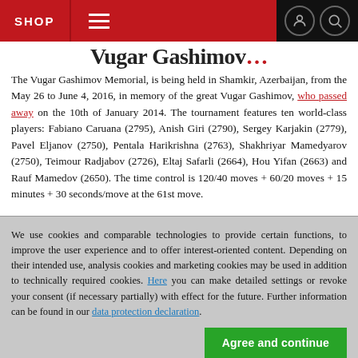SHOP
Vugar Gashimov...
The Vugar Gashimov Memorial, is being held in Shamkir, Azerbaijan, from the May 26 to June 4, 2016, in memory of the great Vugar Gashimov, who passed away on the 10th of January 2014. The tournament features ten world-class players: Fabiano Caruana (2795), Anish Giri (2790), Sergey Karjakin (2779), Pavel Eljanov (2750), Pentala Harikrishna (2763), Shakhriyar Mamedyarov (2750), Teimour Radjabov (2726), Eltaj Safarli (2664), Hou Yifan (2663) and Rauf Mamedov (2650). The time control is 120/40 moves + 60/20 moves + 15 minutes + 30 seconds/move at the 61st move.
We use cookies and comparable technologies to provide certain functions, to improve the user experience and to offer interest-oriented content. Depending on their intended use, analysis cookies and marketing cookies may be used in addition to technically required cookies. Here you can make detailed settings or revoke your consent (if necessary partially) with effect for the future. Further information can be found in our data protection declaration.